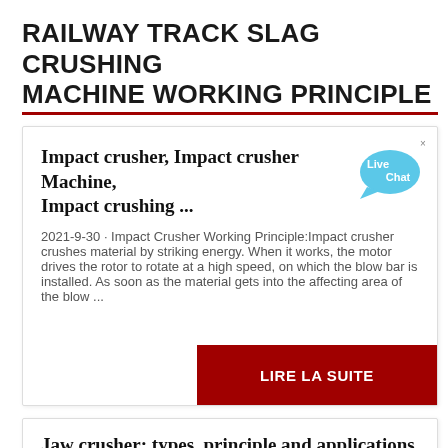RAILWAY TRACK SLAG CRUSHING MACHINE WORKING PRINCIPLE
Impact crusher, Impact crusher Machine, Impact crushing ...
2021-9-30 · Impact Crusher Working Principle:Impact crusher crushes material by striking energy. When it works, the motor drives the rotor to rotate at a high speed, on which the blow bar is installed. As soon as the material gets into the affecting area of the blow ...
LIRE LA SUITE
Jaw crusher: types, principle and applications